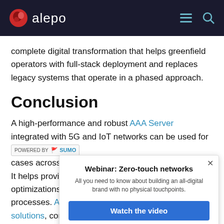alepo
complete digital transformation that helps greenfield operators with full-stack deployment and replaces legacy systems that operate in a phased approach.
Conclusion
A high-performance and robust AAA Server integrated with 5G and IoT networks can be used for cases across It helps provide optimizations processes. Ac solutions, cor
[Figure (screenshot): Popup dialog: Webinar: Zero-touch networks. All you need to know about building an all-digital brand with no physical touchpoints. Watch the video button.]